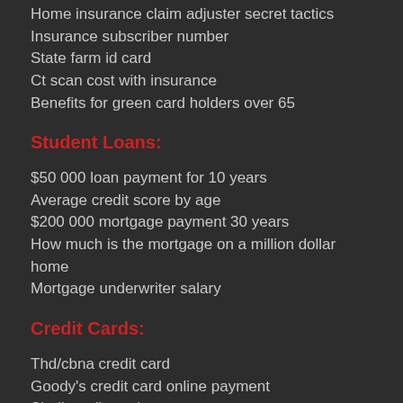Home insurance claim adjuster secret tactics
Insurance subscriber number
State farm id card
Ct scan cost with insurance
Benefits for green card holders over 65
Student Loans:
$50 000 loan payment for 10 years
Average credit score by age
$200 000 mortgage payment 30 years
How much is the mortgage on a million dollar home
Mortgage underwriter salary
Credit Cards:
Thd/cbna credit card
Goody's credit card online payment
Shell credit card payment
Iddeal credit card
Victoria secret pay credit card